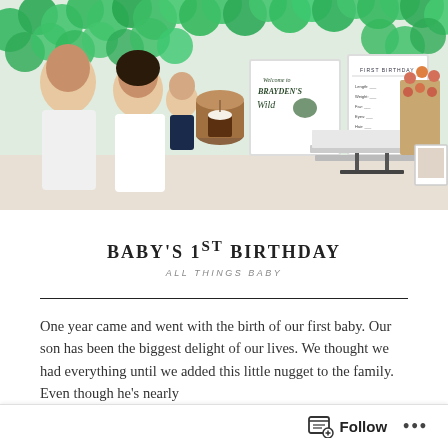[Figure (photo): Family birthday party photo. A man and woman (parents) smile holding a baby/toddler dressed in dark clothes. Behind them is a party table decorated with a 'Welcome to Brayden's Wild' sign, a bear-themed first birthday milestone board, a chocolate cake on a wooden stump, rows of small treats on a tiered stand, and cupcakes. Green balloon arch decorates the top of the scene.]
BABY'S 1ST BIRTHDAY
ALL THINGS BABY
One year came and went with the birth of our first baby. Our son has been the biggest delight of our lives. We thought we had everything until we added this little nugget to the family. Even though he's nearly